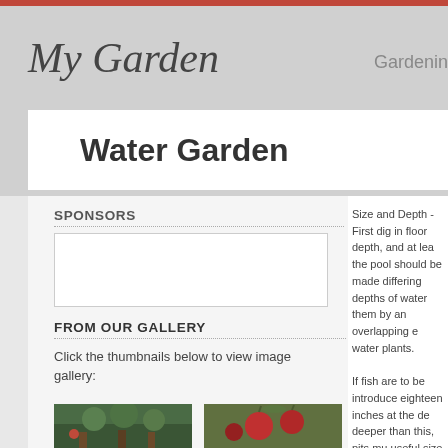My Garden — Gardening
Water Garden
SPONSORS
FROM OUR GALLERY
Click the thumbnails below to view image gallery:
[Figure (photo): Garden thumbnail photo 1 - green garden scene]
[Figure (photo): Garden thumbnail photo 2 - red apples on tree]
Size and Depth -First dig in floor depth, and at least the pool should be made differing depths of water them by an overlapping e water plants.

If fish are to be introduced eighteen inches at the de deeper than this, pits mu useful size. These must c complicated construction

If water gardens are two